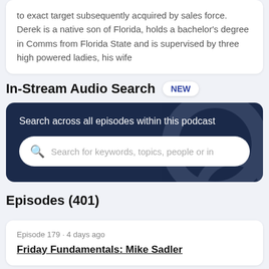to exact target subsequently acquired by sales force. Derek is a native son of Florida, holds a bachelor's degree in Comms from Florida State and is supervised by three high powered ladies, his wife
In-Stream Audio Search
NEW
Search across all episodes within this podcast
Search for keywords, topics, people or in
Episodes (401)
Episode 179 · 4 days ago
Friday Fundamentals: Mike Sadler